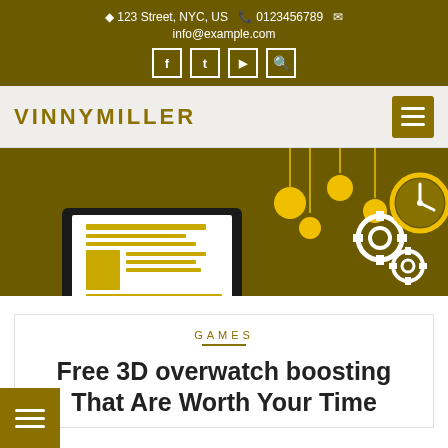📍 123 Street, NYC, US  📞 0123456789  ✉  info@example.com
VINNYMILLER
[Figure (illustration): Hero banner with dark gold background featuring a laptop icon on the left, hanging light bulbs in the center, and gear/clock icons on the right]
GAMES
Free 3D overwatch boosting That Are Worth Your Time